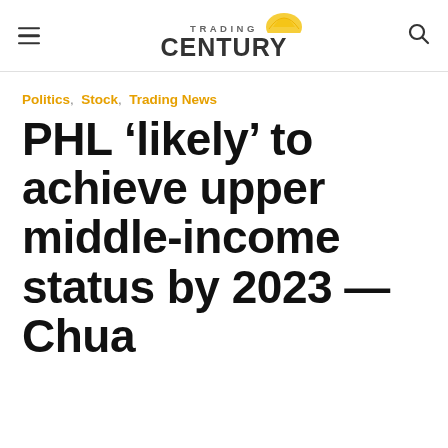Trading Century
Politics, Stock, Trading News
PHL ‘likely’ to achieve upper middle-income status by 2023 — Chua